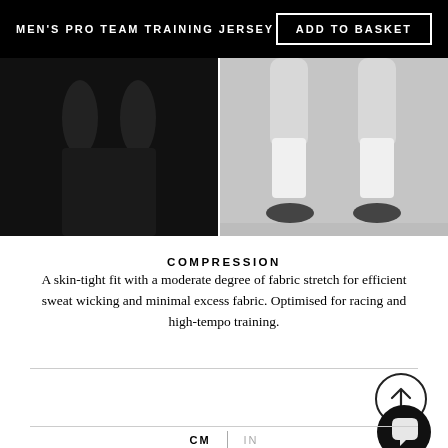MEN'S PRO TEAM TRAINING JERSEY
ADD TO BASKET
[Figure (photo): Dark/black background photo showing partial view of a cycling jersey, barely visible figure]
[Figure (photo): Grayscale photo showing lower legs of a cyclist wearing white socks and cycling shoes]
COMPRESSION
A skin-tight fit with a moderate degree of fabric stretch for efficient sweat wicking and minimal excess fabric. Optimised for racing and high-tempo training.
[Figure (other): Circular scroll-to-top button with upward arrow]
[Figure (other): Black circular chat/messenger button with speech bubble icon]
CM   IN